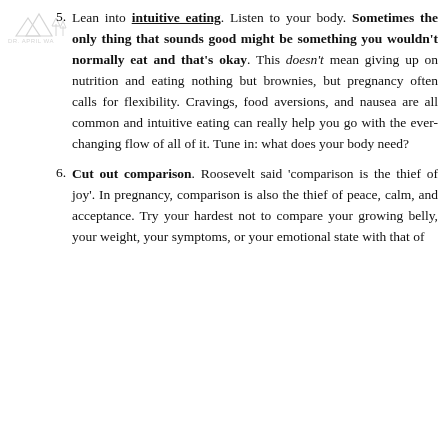[Figure (logo): DR. APRIL WA... logo with mountain/tree illustration, faded watermark style]
5. Lean into intuitive eating. Listen to your body. Sometimes the only thing that sounds good might be something you wouldn't normally eat and that's okay. This doesn't mean giving up on nutrition and eating nothing but brownies, but pregnancy often calls for flexibility. Cravings, food aversions, and nausea are all common and intuitive eating can really help you go with the ever-changing flow of all of it. Tune in: what does your body need?
6. Cut out comparison. Roosevelt said 'comparison is the thief of joy'. In pregnancy, comparison is also the thief of peace, calm, and acceptance. Try your hardest not to compare your growing belly, your weight, your symptoms, or your emotional state with that of